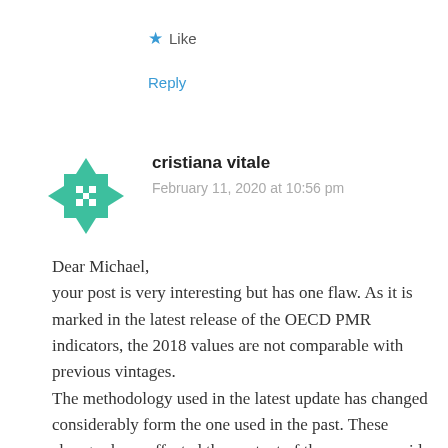Like
Reply
[Figure (illustration): Green geometric avatar/icon with diamond and cross pattern]
cristiana vitale
February 11, 2020 at 10:56 pm
Dear Michael,
your post is very interesting but has one flaw. As it is marked in the latest release of the OECD PMR indicators, the 2018 values are not comparable with previous vintages.
The methodology used in the latest update has changed considerably form the one used in the past. These changes have affected the content of the economy-wide indicator, as well as its